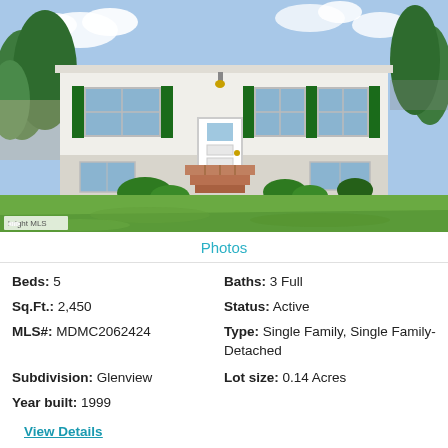[Figure (photo): Exterior photo of a white split-level house with green shutters, white front door, brick steps, and a large green lawn in front. Trees visible on both sides and behind. 'bright MLS' watermark in lower left corner.]
Photos
Beds: 5
Baths: 3 Full
Sq.Ft.: 2,450
Status: Active
MLS#: MDMC2062424
Type: Single Family, Single Family-Detached
Subdivision: Glenview
Lot size: 0.14 Acres
Year built: 1999
View Details